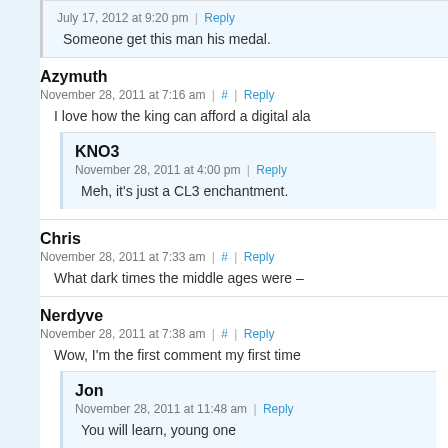July 17, 2012 at 9:20 pm | Reply
Someone get this man his medal.
Azymuth
November 28, 2011 at 7:16 am | # | Reply
I love how the king can afford a digital ala
KNO3
November 28, 2011 at 4:00 pm | Reply
Meh, it's just a CL3 enchantment.
Chris
November 28, 2011 at 7:33 am | # | Reply
What dark times the middle ages were –
Nerdyve
November 28, 2011 at 7:38 am | # | Reply
Wow, I'm the first comment my first time
Jon
November 28, 2011 at 11:48 am | Reply
You will learn, young one